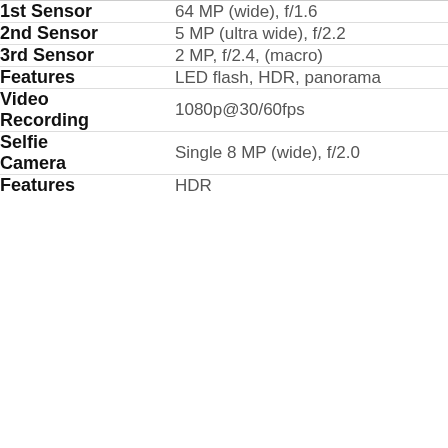| Feature | Value |
| --- | --- |
| 1st Sensor | 64 MP (wide), f/1.6 |
| 2nd Sensor | 5 MP (ultra wide), f/2.2 |
| 3rd Sensor | 2 MP, f/2.4, (macro) |
| Features | LED flash, HDR, panorama |
| Video Recording | 1080p@30/60fps |
| Selfie Camera | Single 8 MP (wide), f/2.0 |
| Features | HDR |